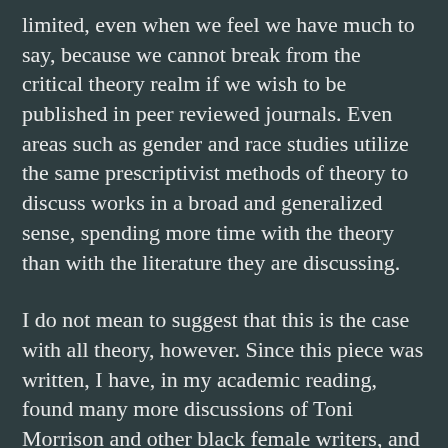limited, even when we feel we have much to say, because we cannot break from the critical theory realm if we wish to be published in peer reviewed journals. Even areas such as gender and race studies utilize the same prescriptivist methods of theory to discuss works in a broad and generalized sense, spending more time with the theory than with the literature they are discussing.
I do not mean to suggest that this is the case with all theory, however. Since this piece was written, I have, in my academic reading, found many more discussions of Toni Morrison and other black female writers, and there have been discussions of the literature through close reading and a focus on language and